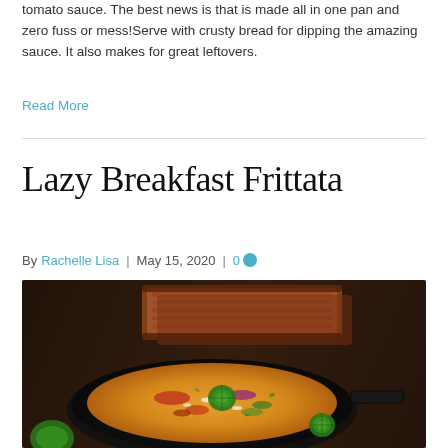tomato sauce. The best news is that is made all in one pan and zero fuss or mess!Serve with crusty bread for dipping the amazing sauce. It also makes for great leftovers.
Read More
Lazy Breakfast Frittata
By Rachelle Lisa | May 15, 2020 | 0
[Figure (photo): A cast iron skillet containing a colorful frittata topped with jalapeño slices, with toasted bread slices in the background on a dark wooden surface.]